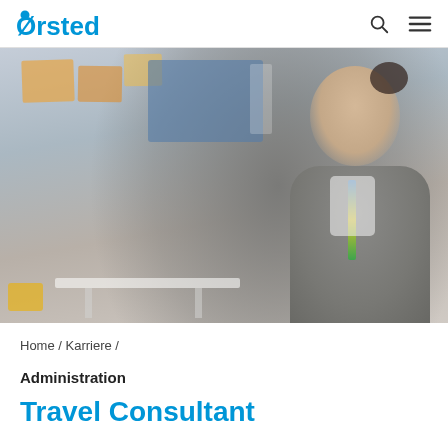Ørsted
[Figure (photo): A smiling young woman with glasses and dark hair in a bun, wearing a grey sleeveless top and a lanyard, in an office environment with post-it notes and a blue screen visible in the background.]
Home / Karriere /
Administration
Travel Consultant